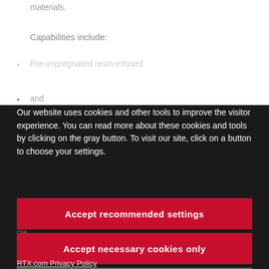materials.
Capabilities include:
Pre-impregnated resin-infused
(partially visible bullet)
(partially visible bullet)
Our website uses cookies and other tools to improve the visitor experience. You can read more about these cookies and tools by clicking on the gray button. To visit our site, click on a button to choose your settings.
Accept recommended settings
High stiffness materials with low void contents die...
Accept necessary cookies only
Manage settings
RTX.com Privacy Policy